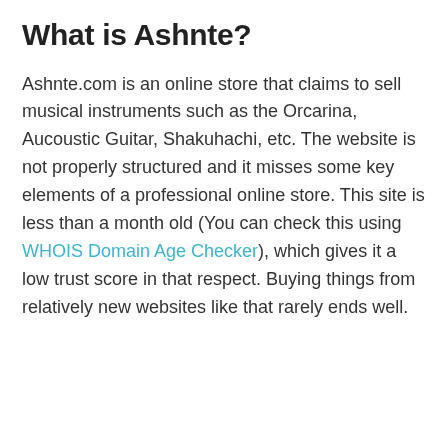What is Ashnte?
Ashnte.com is an online store that claims to sell musical instruments such as the Orcarina, Aucoustic Guitar, Shakuhachi, etc. The website is not properly structured and it misses some key elements of a professional online store. This site is less than a month old (You can check this using WHOIS Domain Age Checker), which gives it a low trust score in that respect. Buying things from relatively new websites like that rarely ends well.